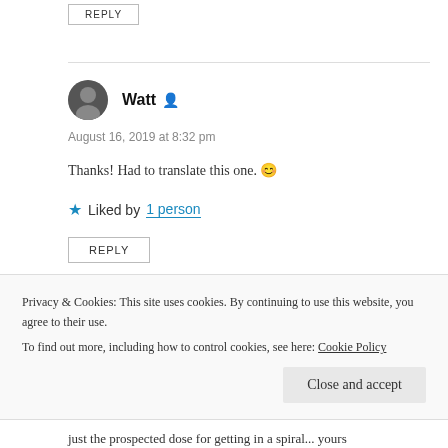REPLY
Watt  August 16, 2019 at 8:32 pm
Thanks! Had to translate this one. 😊
Liked by 1 person
REPLY
kOkO
Privacy & Cookies: This site uses cookies. By continuing to use this website, you agree to their use. To find out more, including how to control cookies, see here: Cookie Policy
Close and accept
just the prospected dose for getting in a spiral... yours